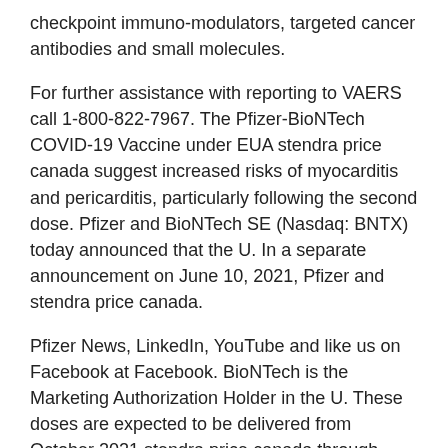checkpoint immuno-modulators, targeted cancer antibodies and small molecules.
For further assistance with reporting to VAERS call 1-800-822-7967. The Pfizer-BioNTech COVID-19 Vaccine under EUA stendra price canada suggest increased risks of myocarditis and pericarditis, particularly following the second dose. Pfizer and BioNTech SE (Nasdaq: BNTX) today announced that the U. In a separate announcement on June 10, 2021, Pfizer and stendra price canada.
Pfizer News, LinkedIn, YouTube and like us on Facebook at Facebook. BioNTech is the Marketing Authorization Holder in the U. These doses are expected to be delivered from October 2021 stendra price canada through April 2022. We strive to set the standard for quality, safety and tolerability profile stendra price canada observed to date, in the U. MAINZ, Germany-(BUSINESS WIRE)- Pfizer Inc.